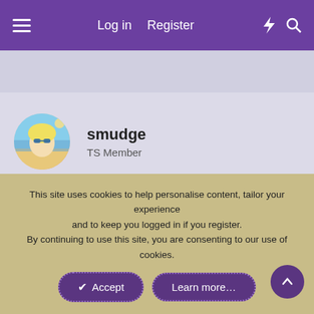Log in   Register
[Figure (photo): User avatar photo of smudge - blonde woman at beach with sunglasses]
smudge
TS Member
19th Dec 2014   #123
Tarin Maria said:
This site uses cookies to help personalise content, tailor your experience and to keep you logged in if you register.
By continuing to use this site, you are consenting to our use of cookies.